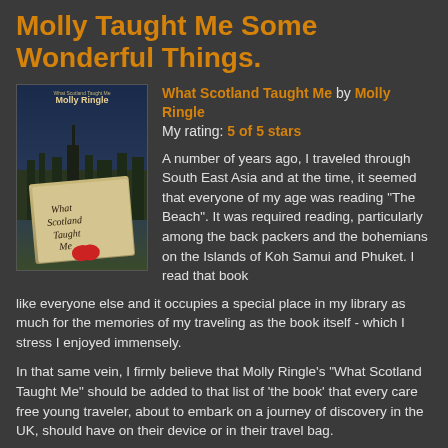Molly Taught Me Some Wonderful Things.
[Figure (illustration): Book cover of 'What Scotland Taught Me' by Molly Ringle, showing a journal/notebook with the title handwritten, a red heart, cityscape in background, dark atmospheric tones.]
What Scotland Taught Me by Molly Ringle
My rating: 5 of 5 stars
A number of years ago, I traveled through South East Asia and at the time, it seemed that everyone of my age was reading "The Beach". It was required reading, particularly among the back packers and the bohemians on the Islands of Koh Samui and Phuket. I read that book like everyone else and it occupies a special place in my library as much for the memories of my traveling as the book itself - which I stress I enjoyed immensely.
In that same vein, I firmly believe that Molly Ringle's "What Scotland Taught Me" should be added to that list of 'the book' that every care free young traveler, about to embark on a journey of discovery in the UK, should have on their device or in their travel bag.